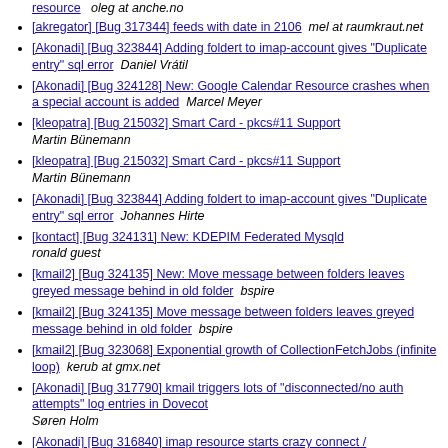resource   oleg at anche.no
[akregator] [Bug 317344] feeds with date in 2106   mel at raumkraut.net
[Akonadi] [Bug 323844] Adding foldert to imap-account gives "Duplicate entry" sql error   Daniel Vrátil
[Akonadi] [Bug 324128] New: Google Calendar Resource crashes when a special account is added   Marcel Meyer
[kleopatra] [Bug 215032] Smart Card - pkcs#11 Support   Martin Bünemann
[kleopatra] [Bug 215032] Smart Card - pkcs#11 Support   Martin Bünemann
[Akonadi] [Bug 323844] Adding foldert to imap-account gives "Duplicate entry" sql error   Johannes Hirte
[kontact] [Bug 324131] New: KDEPIM Federated Mysqld   ronald guest
[kmail2] [Bug 324135] New: Move message between folders leaves greyed message behind in old folder   bspire
[kmail2] [Bug 324135] Move message between folders leaves greyed message behind in old folder   bspire
[kmail2] [Bug 323068] Exponential growth of CollectionFetchJobs (infinite loop)   kerub at gmx.net
[Akonadi] [Bug 317790] kmail triggers lots of "disconnected/no auth attempts" log entries in Dovecot   Søren Holm
[Akonadi] [Bug 316840] imap resource starts crazy connect /